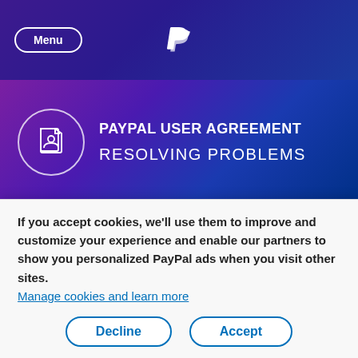Menu | PayPal logo
PAYPAL USER AGREEMENT
RESOLVING PROBLEMS
It is your responsibility to determine what, if any, taxes apply to the payments you make or receive, and it is solely your responsibility to assess, collect, report and remit the correct taxes to the appropriate authority. We are not
If you accept cookies, we'll use them to improve and customize your experience and enable our partners to show you personalized PayPal ads when you visit other sites. Manage cookies and learn more
Decline | Accept